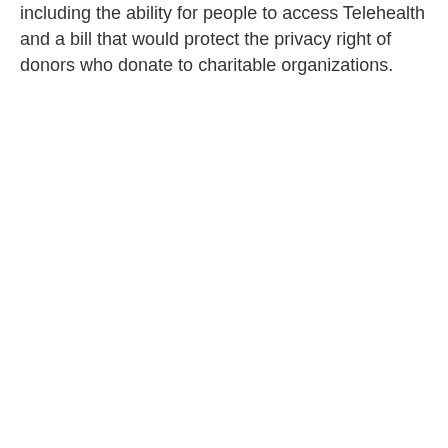including the ability for people to access Telehealth and a bill that would protect the privacy right of donors who donate to charitable organizations.